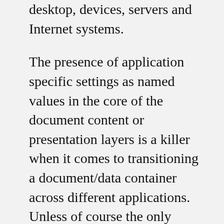desktop, devices, servers and Internet systems.
The presence of application specific settings as named values in the core of the document content or presentation layers is a killer when it comes to transitioning a document/data container across different applications. Unless of course the only applications in the processing chain are certified by our friends in Redmond.
I guess there is a method to their madness.